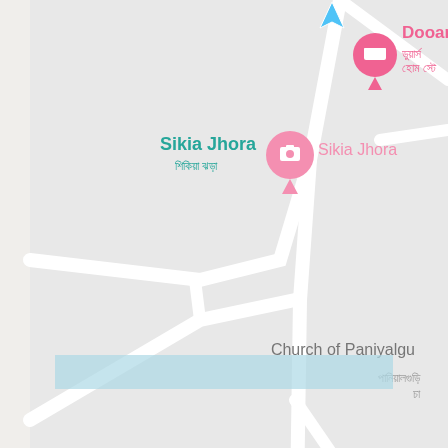[Figure (map): Google Maps screenshot showing roads near Sikia Jhora and Church of Paniyalguri area. Features a pink camera pin labeled 'Sikia Jhora' with Bengali text, a pink hotel pin labeled 'Dooars Hom' with Bengali text, a blue navigation arrow at top, white roads on light grey map background, and a light blue horizontal banner near the bottom.]